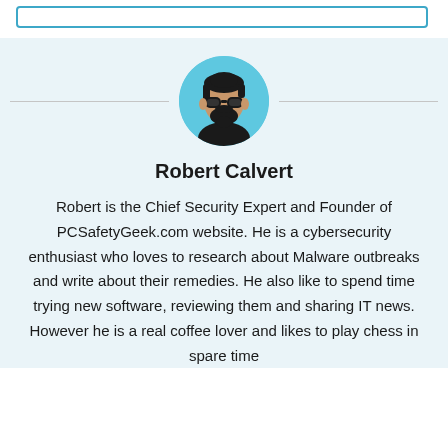[Figure (illustration): Circular avatar illustration of Robert Calvert — a bearded man wearing sunglasses, drawn in a cartoon/illustration style, on a light blue circular background]
Robert Calvert
Robert is the Chief Security Expert and Founder of PCSafetyGeek.com website. He is a cybersecurity enthusiast who loves to research about Malware outbreaks and write about their remedies. He also like to spend time trying new software, reviewing them and sharing IT news. However he is a real coffee lover and likes to play chess in spare time